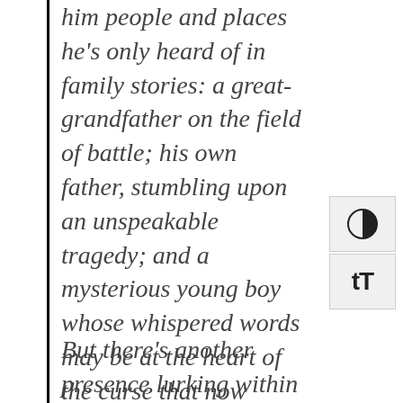him people and places he's only heard of in family stories: a great-grandfather on the field of battle; his own father, stumbling upon an unspeakable tragedy; and a mysterious young boy whose whispered words may be at the heart of the curse that now holds Aidan's family in its grip.
But there's another presence lurking within this invisible world—someone who has been waiting to collect on a debt set into motion generations ago. As the line between the past and